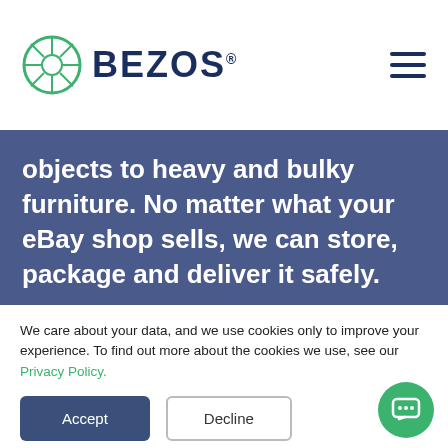BEZOS®
objects to heavy and bulky furniture. No matter what your eBay shop sells, we can store, package and deliver it safely.
We care about your data, and we use cookies only to improve your experience. To find out more about the cookies we use, see our Privacy Policy.
Accept
Decline